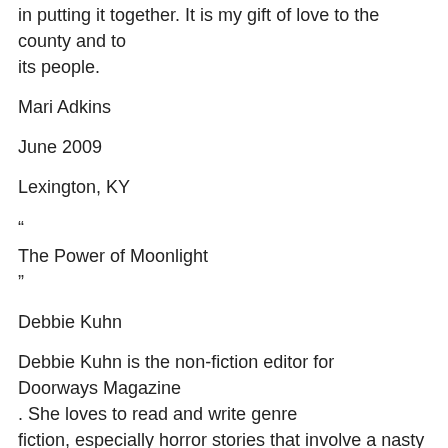in putting it together. It is my gift of love to the county and to its people.
Mari Adkins
June 2009
Lexington, KY
“
The Power of Moonlight
”
Debbie Kuhn
Debbie Kuhn is the non-fiction editor for Doorways Magazine. She loves to read and write genre fiction, especially horror stories that involve a nasty ghost or two. Debbie has a habit of roaming around old southern cemeteries after dark. If you happen to run into her at midnight when